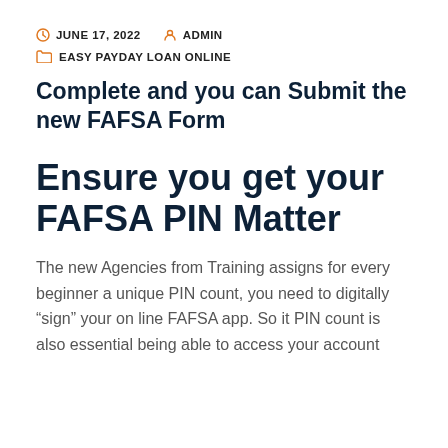JUNE 17, 2022   ADMIN
EASY PAYDAY LOAN ONLINE
Complete and you can Submit the new FAFSA Form
Ensure you get your FAFSA PIN Matter
The new Agencies from Training assigns for every beginner a unique PIN count, you need to digitally “sign” your on line FAFSA app. So it PIN count is also essential being able to access your account